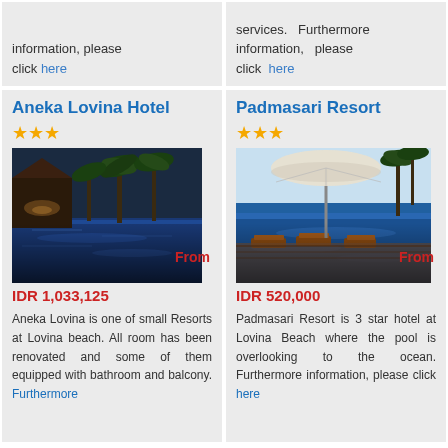information, please click here
services. Furthermore information, please click here
Aneka Lovina Hotel
★★★
[Figure (photo): Hotel pool with palm trees at night, Aneka Lovina Hotel]
From IDR 1,033,125
Aneka Lovina is one of small Resorts at Lovina beach. All room has been renovated and some of them equipped with bathroom and balcony. Furthermore
Padmasari Resort
★★★
[Figure (photo): Resort pool with sun loungers overlooking ocean, Padmasari Resort]
From IDR 520,000
Padmasari Resort is 3 star hotel at Lovina Beach where the pool is overlooking to the ocean. Furthermore information, please click here